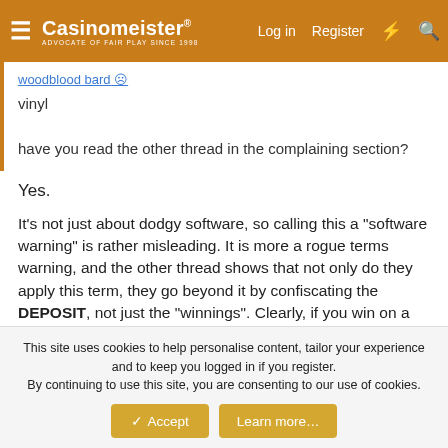Casinomeister® | Log in | Register
woodblood bard:
vinyl

have you read the other thread in the complaining section?
Yes.
It's not just about dodgy software, so calling this a "software warning" is rather misleading. It is more a rogue terms warning, and the other thread shows that not only do they apply this term, they go beyond it by confiscating the DEPOSIT, not just the "winnings". Clearly, if you win on a less than 100% game, yet then lose those winnings later, they will just confiscate what no longer exists by raiding your winnings from 100% games, and
This site uses cookies to help personalise content, tailor your experience and to keep you logged in if you register.
By continuing to use this site, you are consenting to our use of cookies.